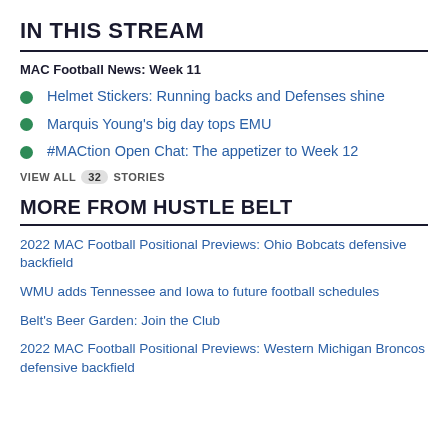IN THIS STREAM
MAC Football News: Week 11
Helmet Stickers: Running backs and Defenses shine
Marquis Young's big day tops EMU
#MACtion Open Chat: The appetizer to Week 12
VIEW ALL 32 STORIES
MORE FROM HUSTLE BELT
2022 MAC Football Positional Previews: Ohio Bobcats defensive backfield
WMU adds Tennessee and Iowa to future football schedules
Belt's Beer Garden: Join the Club
2022 MAC Football Positional Previews: Western Michigan Broncos defensive backfield